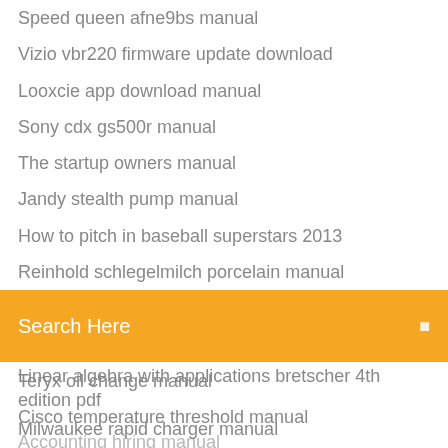Speed queen afne9bs manual
Vizio vbr220 firmware update download
Looxcie app download manual
Sony cdx gs500r manual
The startup owners manual
Jandy stealth pump manual
How to pitch in baseball superstars 2013
Reinhold schlegelmilch porcelain manual
Varilla para construccion manual
Jet kayak gt manual
Teryx oil change manual
Cisco temperature threshold manual
Search Here
Linear algebra with applications bretscher 4th edition pdf
Milwaukee rapid charger manual
John legget college manual
Sony basis registration manual